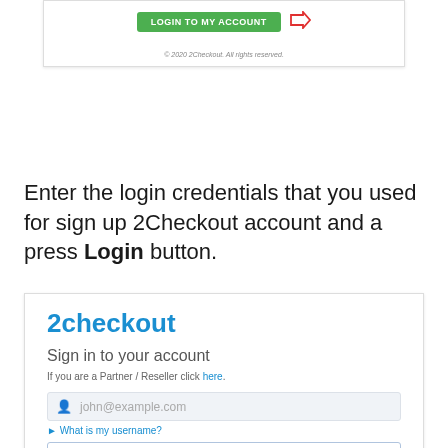[Figure (screenshot): Screenshot of 2Checkout login page top section showing a green 'LOGIN TO MY ACCOUNT' button with a red arrow pointing to it, and a copyright notice '© 2020 2Checkout. All rights reserved.']
Enter the login credentials that you used for sign up 2Checkout account and a press Login button.
[Figure (screenshot): Screenshot of 2Checkout sign-in page showing the 2checkout logo, 'Sign in to your account' heading, partner/reseller link, email input field with john@example.com placeholder, 'What is my username?' link, and a password field with dots.]